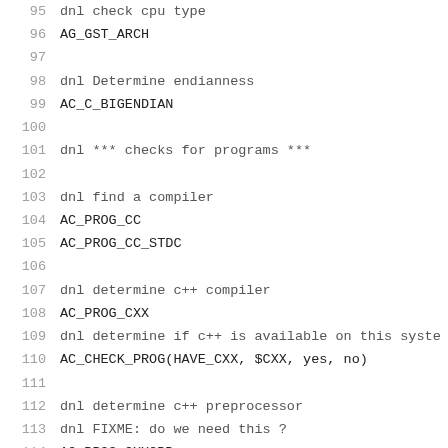95  dnl check cpu type
96  AG_GST_ARCH
97
98  dnl Determine endianness
99  AC_C_BIGENDIAN
100
101  dnl *** checks for programs ***
102
103  dnl find a compiler
104  AC_PROG_CC
105  AC_PROG_CC_STDC
106
107  dnl determine c++ compiler
108  AC_PROG_CXX
109  dnl determine if c++ is available on this syste
110  AC_CHECK_PROG(HAVE_CXX, $CXX, yes, no)
111
112  dnl determine c++ preprocessor
113  dnl FIXME: do we need this ?
114  AC_PROG_CXXCPP
115
116  AC_PROG_OBJC